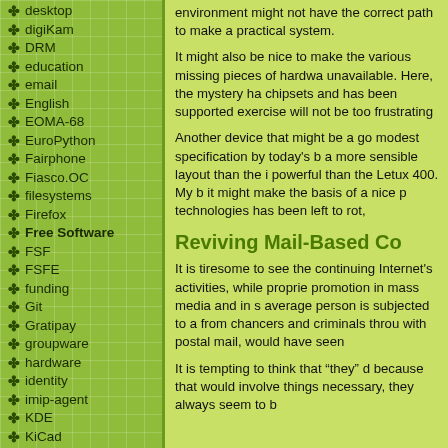desktop
digiKam
DRM
education
email
English
EOMA-68
EuroPython
Fairphone
Fiasco.OC
filesystems
Firefox
Free Software
FSF
FSFE
funding
Git
Gratipay
groupware
hardware
identity
imip-agent
KDE
KiCad
Kolab
Kubuntu
L4
Letux 400
libext2fs
licensing
Lichen
Linux kernel
mail
Mailman
MIPS
environment might not have the correct path to make a practical system.
It might also be nice to make the various missing pieces of hardware unavailable. Here, the mystery ha chipsets and has been supported exercise will not be too frustrating
Another device that might be a go modest specification by today's b a more sensible layout than the i powerful than the Letux 400. My it might make the basis of a nice p technologies has been left to rot,
Reviving Mail-Based Co
It is tiresome to see the continuing Internet's activities, while proprie promotion in mass media and in s average person is subjected to a from chancers and criminals throu with postal mail, would have seen
It is tempting to think that “they” d because that would involve things necessary, they always seem to b